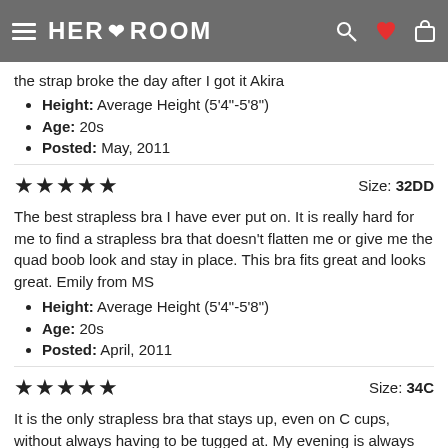HER ROOM
the strap broke the day after I got it Akira
Height: Average Height (5'4"-5'8")
Age: 20s
Posted: May, 2011
★★★★★   Size: 32DD
The best strapless bra I have ever put on. It is really hard for me to find a strapless bra that doesn't flatten me or give me the quad boob look and stay in place. This bra fits great and looks great. Emily from MS
Height: Average Height (5'4"-5'8")
Age: 20s
Posted: April, 2011
★★★★★   Size: 34C
It is the only strapless bra that stays up, even on C cups, without always having to be tugged at. My evening is always much pleasanter when I can forget about my undergarments: they are there for invisible and subtle support--so then I just can enjoy my evening! Submitted from TheUndies.com
Height: Average Height (5'4"-5'8")
Age: 50s